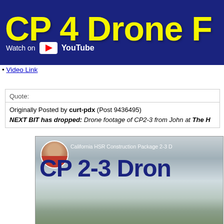[Figure (screenshot): YouTube video thumbnail banner with dark navy background, large yellow bold text reading 'CP 4 Drone F' (partially visible), and a 'Watch on YouTube' badge in white.]
Video Link
Quote:
Originally Posted by curt-pdx (Post 9436495)
NEXT BIT has dropped: Drone footage of CP2-3 from John at The H
[Figure (screenshot): YouTube video thumbnail showing 'California HSR Construction Package 2-3 D' subtitle and large dark blue text 'CP 2-3 Dron' on a grey gradient background, with a circular avatar photo of a person in red jacket at top left, and aerial landscape view at bottom.]